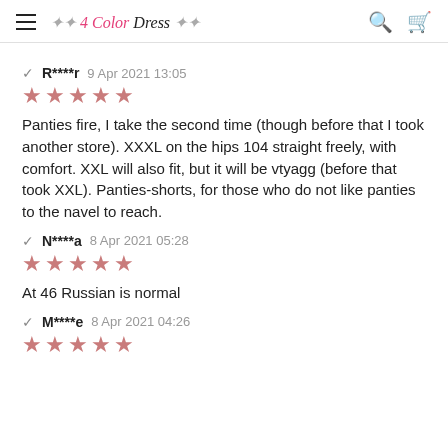4 Color Dress
R****r 9 Apr 2021 13:05 ★★★★★ Panties fire, I take the second time (though before that I took another store). XXXL on the hips 104 straight freely, with comfort. XXL will also fit, but it will be vtyagg (before that took XXL). Panties-shorts, for those who do not like panties to the navel to reach.
N****a 8 Apr 2021 05:28 ★★★★★ At 46 Russian is normal
M****e 8 Apr 2021 04:26 ★★★★★